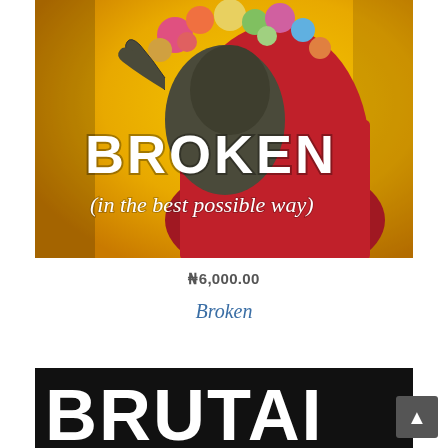[Figure (illustration): Book cover for 'Broken (in the best possible way)' — golden/yellow background with a woman in a red dress holding a creature covered in flowers, bold white text reading BROKEN and below it (in the best possible way)]
₦6,000.00
Broken
[Figure (illustration): Partial view of another book cover with black background and bold white block letters, partially visible at the bottom of the page]